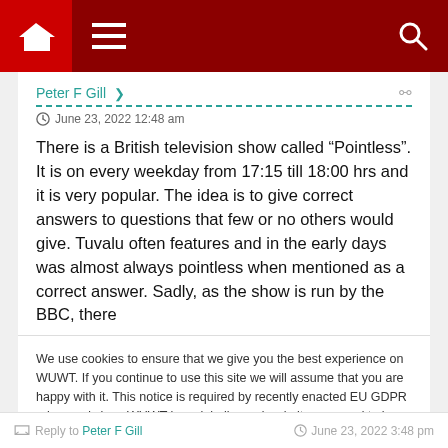[Figure (screenshot): Navigation bar with home icon, hamburger menu, and search icon on dark red background]
Peter F Gill
June 23, 2022 12:48 am
There is a British television show called “Pointless”. It is on every weekday from 17:15 till 18:00 hrs and it is very popular. The idea is to give correct answers to questions that few or no others would give. Tuvalu often features and in the early days was almost always pointless when mentioned as a correct answer. Sadly, as the show is run by the BBC, there
We use cookies to ensure that we give you the best experience on WUWT. If you continue to use this site we will assume that you are happy with it. This notice is required by recently enacted EU GDPR rules, and since WUWT is a globally read website, we need to keep the bureaucrats off our case! Cookie Policy
Close and accept
Reply to Peter F Gill   June 23, 2022 3:48 pm